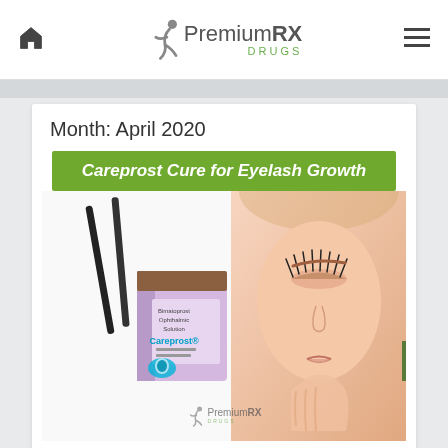PremiumRX DRUGS — navigation header with home icon and menu icon
Month: April 2020
[Figure (illustration): Promotional blog post image for Careprost Cure for Eyelash Growth. Contains green banner with italic bold white text 'Careprost Cure for Eyelash Growth', product image of Careprost Bimatoprost Ophthalmic Solution eye drop box and bottle with applicators on the left, and a woman's face with prominent eyelashes on the right. PremiumRX Drugs watermark logo at bottom center.]